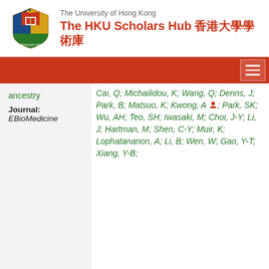The University of Hong Kong — The HKU Scholars Hub 香港大學學術庫
ancestry
Journal: EBioMedicine
Cai, Q; Michailidou, K; Wang, Q; Denns, J; Park, B; Matsuo, K; Kwong, A; Park, SK; Wu, AH; Teo, SH; Iwasaki, M; Choi, J-Y; Li, J; Hartman, M; Shen, C-Y; Muir, K; Lophatananon, A; Li, B; Wen, W; Gao, Y-T; Xiang, Y-B;